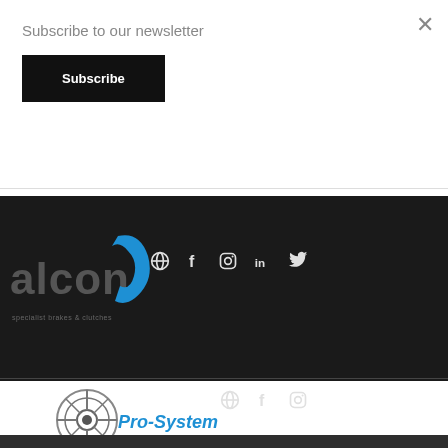Subscribe to our newsletter
Subscribe
[Figure (logo): Alcon specialist brakes & clutches logo with blue swoosh graphic on dark background, with social media icons: globe, Facebook, Instagram, LinkedIn, Twitter]
[Figure (logo): Pro-System logo with brake disc graphic on dark background, with social media icons: globe, Facebook, Instagram]